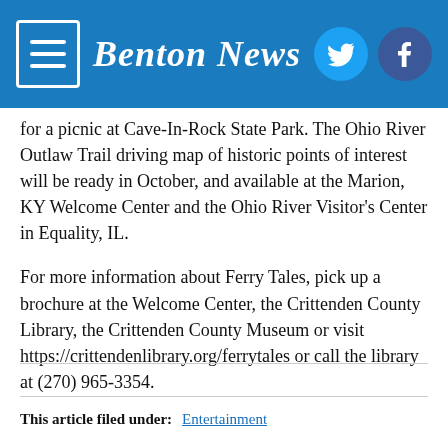Benton News
for a picnic at Cave-In-Rock State Park. The Ohio River Outlaw Trail driving map of historic points of interest will be ready in October, and available at the Marion, KY Welcome Center and the Ohio River Visitor's Center in Equality, IL.
For more information about Ferry Tales, pick up a brochure at the Welcome Center, the Crittenden County Library, the Crittenden County Museum or visit https://crittendenlibrary.org/ferrytales or call the library at (270) 965-3354.
This article filed under: Entertainment